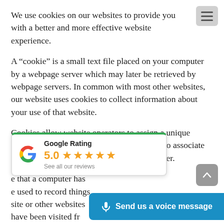We use cookies on our websites to provide you with a better and more effective website experience.
A “cookie” is a small text file placed on your computer by a webpage server which may later be retrieved by webpage servers. In common with most other websites, our website uses cookies to collect information about your use of that website.
Cookies allow website operators to assign a unique identifier to a computer, which can be used to associate requests made to the website by that computer.
...e that a computer has ...e used to record things ...site or other websites have been visited fr...
[Figure (other): Google Rating card showing 5.0 stars and 'See all our reviews' link, with green top border and Google G logo]
[Figure (other): Blue 'Send us a voice message' button with microphone icon]